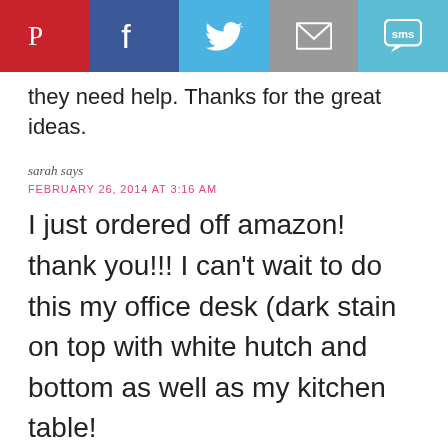[Figure (infographic): Social sharing bar with Pinterest, Facebook, Twitter, Email, and SMS buttons]
they need help. Thanks for the great ideas.
sarah says
FEBRUARY 26, 2014 AT 3:16 AM
I just ordered off amazon! thank you!!! I can't wait to do this my office desk (dark stain on top with white hutch and bottom as well as my kitchen table!
Laura Wolfgram says
FEBRUARY 5, 2014 AT 10:01 PM
Hoping you'll notice this comment! Do you